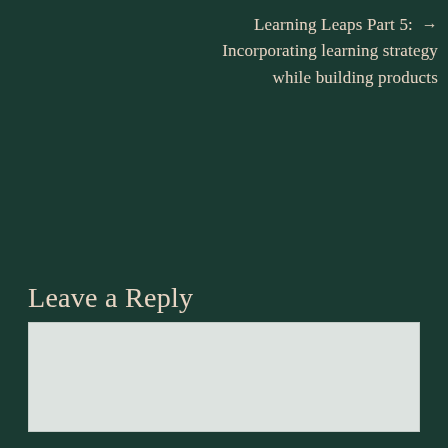Learning Leaps Part 5: → Incorporating learning strategy while building products
Leave a Reply
Enter your comment here...